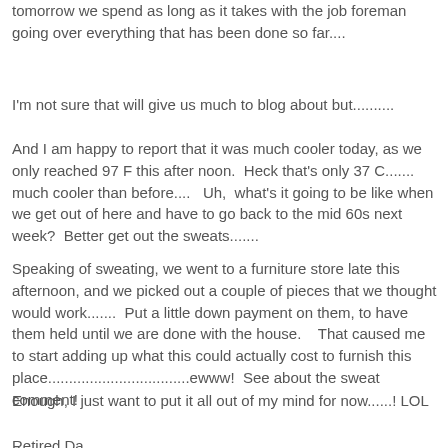tomorrow we spend as long as it takes with the job foreman going over everything that has been done so far....
I'm not sure that will give us much to blog about but..........
And I am happy to report that it was much cooler today, as we only reached 97 F this after noon.  Heck that's only 37 C.......  much cooler than before....   Uh,  what's it going to be like when we get out of here and have to go back to the mid 60s next week?  Better get out the sweats.......
Speaking of sweating, we went to a furniture store late this afternoon, and we picked out a couple of pieces that we thought would work.......  Put a little down payment on them, to have them held until we are done with the house.    That caused me to start adding up what this could actually cost to furnish this place..................................ewww!  See about the sweat comment!
Enough, I just want to put it all out of my mind for now......! LOL
Retired Da...